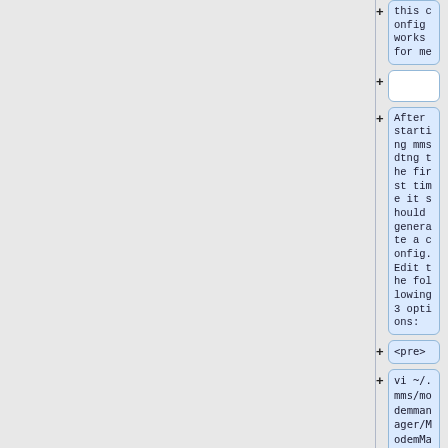this config works for me
After starting mmsdtng the first time it should generate a config. Edit the following 3 options:
<pre>
vi ~/.mms/modemmanager/ModemManagerSettings